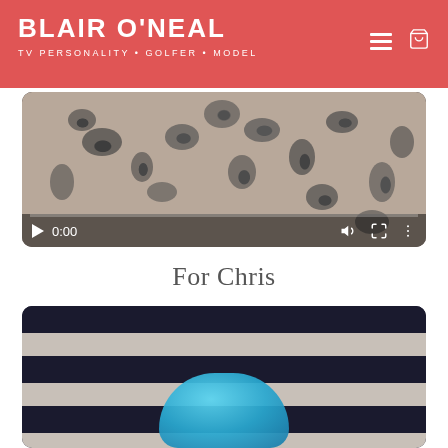BLAIR O'NEAL
TV PERSONALITY · GOLFER · MODEL
[Figure (screenshot): Video player showing a paused video at 0:00 with a leopard print background. Controls show play button, time 0:00, volume icon, and fullscreen icon.]
For Chris
[Figure (screenshot): Video player showing a paused video with a dark navy and light striped background and a blue rounded object at the bottom center.]